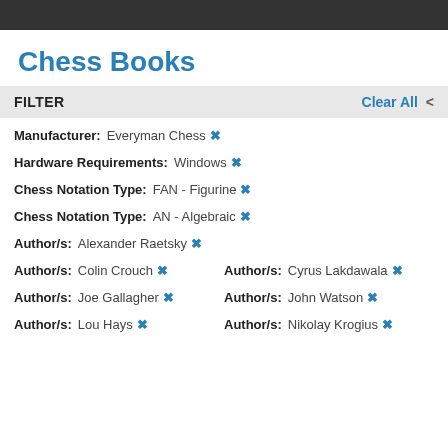Chess Books
FILTER   Clear All <
Manufacturer: Everyman Chess ✕
Hardware Requirements: Windows ✕
Chess Notation Type: FAN - Figurine ✕
Chess Notation Type: AN - Algebraic ✕
Author/s: Alexander Raetsky ✕
Author/s: Colin Crouch ✕   Author/s: Cyrus Lakdawala ✕
Author/s: Joe Gallagher ✕   Author/s: John Watson ✕
Author/s: Lou Hays ✕   Author/s: Nikolay Krogius ✕